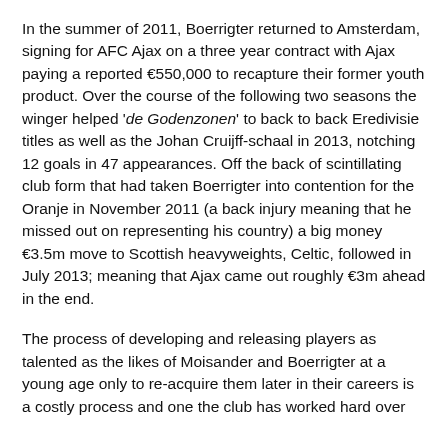In the summer of 2011, Boerrigter returned to Amsterdam, signing for AFC Ajax on a three year contract with Ajax paying a reported €550,000 to recapture their former youth product. Over the course of the following two seasons the winger helped 'de Godenzonen' to back to back Eredivisie titles as well as the Johan Cruijff-schaal in 2013, notching 12 goals in 47 appearances. Off the back of scintillating club form that had taken Boerrigter into contention for the Oranje in November 2011 (a back injury meaning that he missed out on representing his country) a big money €3.5m move to Scottish heavyweights, Celtic, followed in July 2013; meaning that Ajax came out roughly €3m ahead in the end.
The process of developing and releasing players as talented as the likes of Moisander and Boerrigter at a young age only to re-acquire them later in their careers is a costly process and one the club has worked hard over